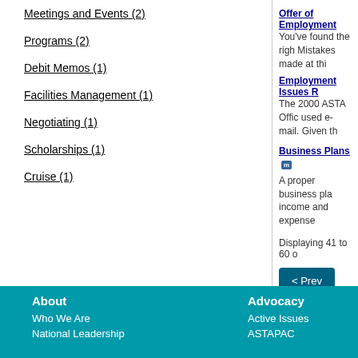Meetings and Events (2)
Programs (2)
Debit Memos (1)
Facilities Management (1)
Negotiating (1)
Scholarships (1)
Cruise (1)
Offer of Employment
You've found the righ Mistakes made at thi
Employment Issues R
The 2000 ASTA Offic used e-mail. Given th
Business Plans [m]
A proper business pla income and expense
Displaying 41 to 60 o
< Prev
About  Who We Are  National Leadership  Advocacy  Active Issues  ASTAPAC